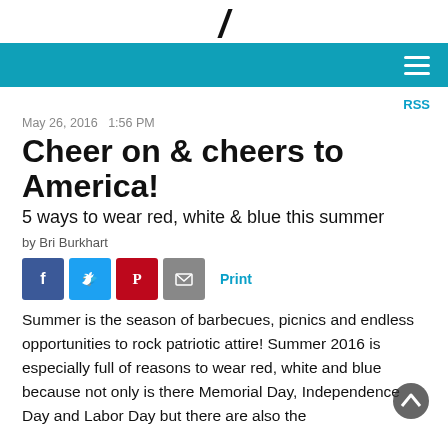/
RSS
May 26, 2016   1:56 PM
Cheer on & cheers to America!
5 ways to wear red, white & blue this summer
by Bri Burkhart
[Figure (infographic): Social share buttons: Facebook (blue), Twitter (light blue), Pinterest (red), Email (gray), and Print link]
Summer is the season of barbecues, picnics and endless opportunities to rock patriotic attire! Summer 2016 is especially full of reasons to wear red, white and blue because not only is there Memorial Day, Independence Day and Labor Day but there are also the...